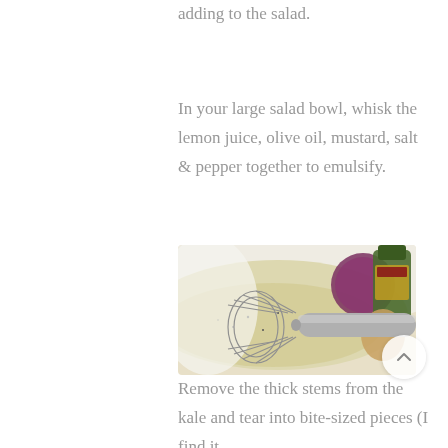adding to the salad.
In your large salad bowl, whisk the lemon juice, olive oil, mustard, salt & pepper together to emulsify.
[Figure (photo): A metal whisk in a white bowl containing a creamy emulsified dressing, with a red onion and other vegetables visible in the background.]
Remove the thick stems from the kale and tear into bite-sized pieces (I find it